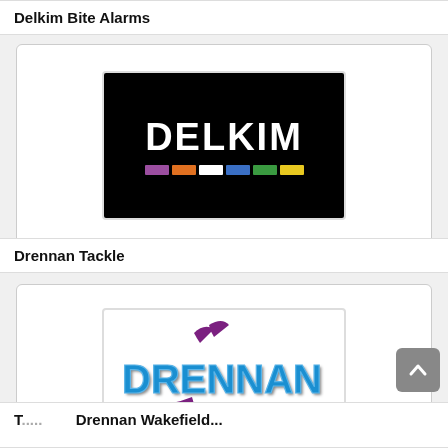Delkim Bite Alarms
[Figure (logo): Delkim logo: white bold text 'DELKIM' on black background with colored squares (purple, orange, white, blue, green, yellow) below the text]
Drennan Tackle
[Figure (logo): Drennan logo: blue and purple 3D-style text 'DRENNAN' with purple swoosh marks above and below]
T... and Drennan Wakefield...